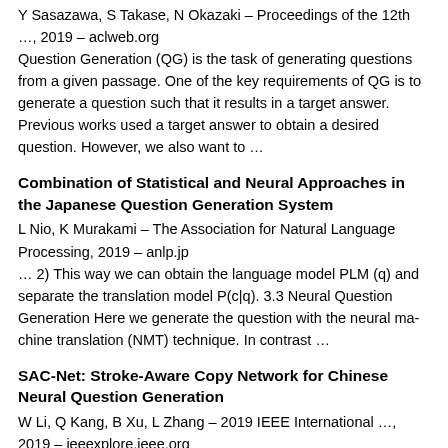Y Sasazawa, S Takase, N Okazaki – Proceedings of the 12th …, 2019 – aclweb.org
Question Generation (QG) is the task of generating questions from a given passage. One of the key requirements of QG is to generate a question such that it results in a target answer. Previous works used a target answer to obtain a desired question. However, we also want to …
Combination of Statistical and Neural Approaches in the Japanese Question Generation System
L Nio, K Murakami – The Association for Natural Language Processing, 2019 – anlp.jp
… 2) This way we can obtain the language model PLM (q) and separate the translation model P(c|q). 3.3 Neural Question Generation Here we generate the question with the neural machine translation (NMT) technique. In contrast …
SAC-Net: Stroke-Aware Copy Network for Chinese Neural Question Generation
W Li, Q Kang, B Xu, L Zhang – 2019 IEEE International …, 2019 – ieeexplore.ieee.org
Question Generation aims to create various questions from a given passage, which can provide education material, improve the training of question answering, and help chat bots have